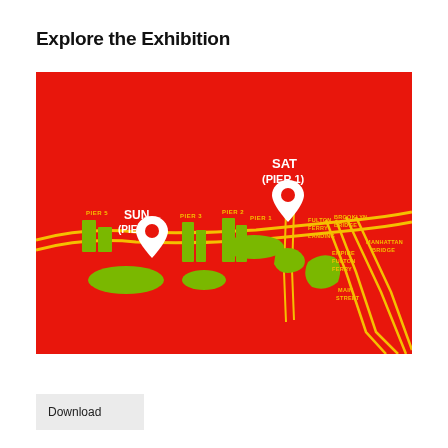Explore the Exhibition
[Figure (map): A red illustrated map showing Brooklyn Bridge Park piers along the waterfront. Green shapes represent park areas and piers labeled PIER 5, PIER 3, PIER 2, PIER 1, FULTON FERRY LANDING, BROOKLYN BRIDGE, EMPIRE FULTON FERRY, MANHATTAN BRIDGE, MAIN STREET. Two white location pin markers indicate: SUN (PIER 5) on the left, and SAT (PIER 1) on the right. Yellow lines indicate roads/paths.]
Download